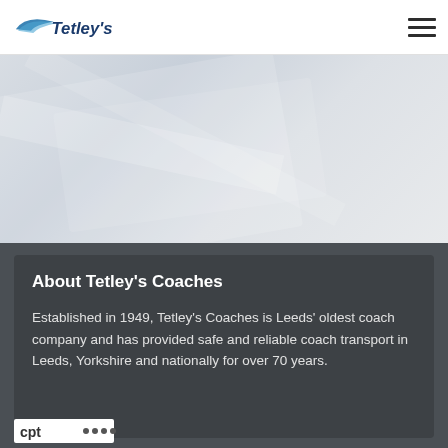Tetley's Coaches - navigation header with logo and menu icon
[Figure (photo): Hero banner area with light grey gradient background suggesting a coach/vehicle image]
About Tetley's Coaches
Established in 1949, Tetley's Coaches is Leeds' oldest coach company and has provided safe and reliable coach transport in Leeds, Yorkshire and nationally for over 70 years.
[Figure (logo): CPT (Confederation of Passenger Transport) logo with dots, partially visible at bottom]